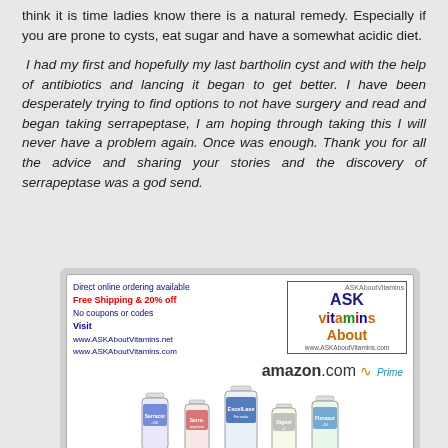think it is time ladies know there is a natural remedy. Especially if you are prone to cysts, eat sugar and have a somewhat acidic diet.
I had my first and hopefully my last bartholin cyst and with the help of antibiotics and lancing it began to get better. I have been desperately trying to find options to not have surgery and read and began taking serrapeptase, I am hoping through taking this I will never have a problem again. Once was enough. Thank you for all the advice and sharing your stories and the discovery of serrapeptase was a god send.
[Figure (advertisement): ASK About Vitamins advertisement showing online ordering info, Free Shipping & 20% off, website URLs, amazon.com Prime logo, and supplement bottles]